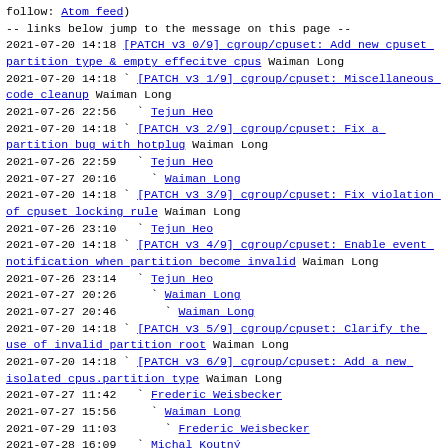follow: Atom feed)
-- links below jump to the message on this page --
2021-07-20 14:18 [PATCH v3 0/9] cgroup/cpuset: Add new cpuset partition type & empty effecitve cpus Waiman Long
2021-07-20 14:18 ` [PATCH v3 1/9] cgroup/cpuset: Miscellaneous code cleanup Waiman Long
2021-07-26 22:56   ` Tejun Heo
2021-07-20 14:18 ` [PATCH v3 2/9] cgroup/cpuset: Fix a partition bug with hotplug Waiman Long
2021-07-26 22:59   ` Tejun Heo
2021-07-27 20:16     ` Waiman Long
2021-07-20 14:18 ` [PATCH v3 3/9] cgroup/cpuset: Fix violation of cpuset locking rule Waiman Long
2021-07-26 23:10   ` Tejun Heo
2021-07-20 14:18 ` [PATCH v3 4/9] cgroup/cpuset: Enable event notification when partition become invalid Waiman Long
2021-07-26 23:14   ` Tejun Heo
2021-07-27 20:26     ` Waiman Long
2021-07-27 20:46       ` Waiman Long
2021-07-20 14:18 ` [PATCH v3 5/9] cgroup/cpuset: Clarify the use of invalid partition root Waiman Long
2021-07-20 14:18 ` [PATCH v3 6/9] cgroup/cpuset: Add a new isolated cpus.partition type Waiman Long
2021-07-27 11:42   ` Frederic Weisbecker
2021-07-27 15:56     ` Waiman Long
2021-07-29 11:03       ` Frederic Weisbecker
2021-07-28 16:09   ` Michal Koutny
2021-07-28 16:27     ` Waiman Long